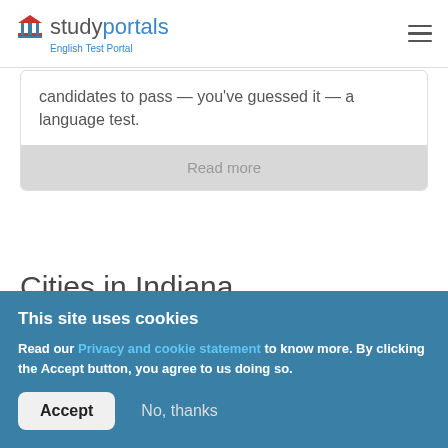studyportals English Test Portal
candidates to pass — you've guessed it — a language test.
Read more
Cities in Indiana
Choose a city to find the closest PTE Academic test...
This site uses cookies
Read our Privacy and cookie statement to know more. By clicking the Accept button, you agree to us doing so.
Accept
No, thanks